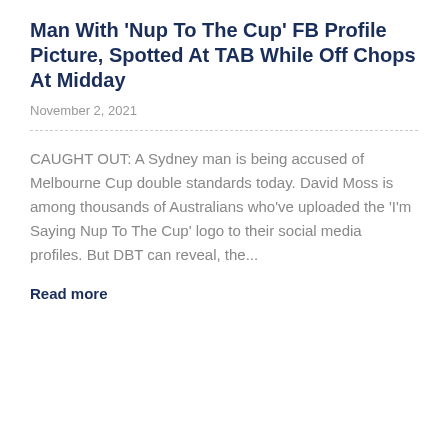Man With 'Nup To The Cup' FB Profile Picture, Spotted At TAB While Off Chops At Midday
November 2, 2021
CAUGHT OUT: A Sydney man is being accused of Melbourne Cup double standards today. David Moss is among thousands of Australians who've uploaded the 'I'm Saying Nup To The Cup' logo to their social media profiles. But DBT can reveal, the…
Read more